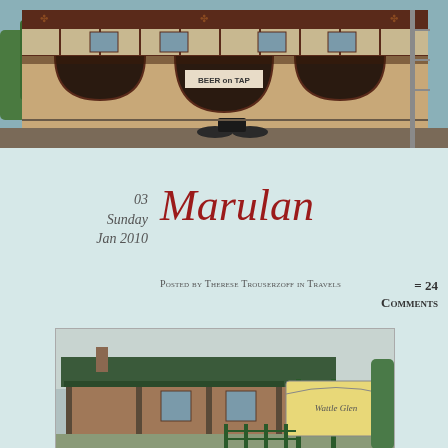[Figure (photo): Exterior of a historic pub/hotel building with large arched openings, decorative ironwork, balcony, and a sign reading 'BEER on TAP'. A motorcycle is parked in front.]
03
Sunday
Jan 2010
Marulan
Posted by Therese Trouserzoff in Travels
= 24 Comments
[Figure (photo): A historic cottage or homestead with a verandah and a sign reading 'Wattle Glen' in the foreground with green fence posts.]